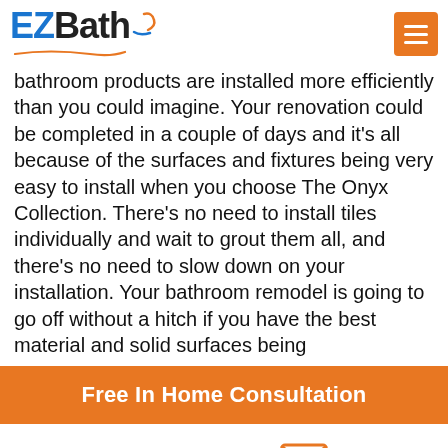[Figure (logo): EZBath logo with blue 'EZ', black 'Bath', swoosh graphic, and orange menu button]
bathroom products are installed more efficiently than you could imagine. Your renovation could be completed in a couple of days and it's all because of the surfaces and fixtures being very easy to install when you choose The Onyx Collection. There's no need to install tiles individually and wait to grout them all, and there's no need to slow down on your installation. Your bathroom remodel is going to go off without a hitch if you have the best material and solid surfaces being installed. You will notice the added state...
Free In Home Consultation
Call Us
Fill Out Form